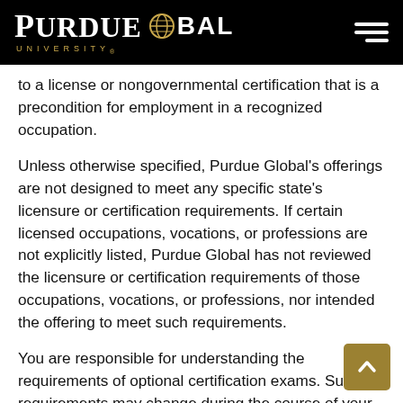PURDUE UNIVERSITY GLOBAL
to a license or nongovernmental certification that is a precondition for employment in a recognized occupation.
Unless otherwise specified, Purdue Global's offerings are not designed to meet any specific state's licensure or certification requirements. If certain licensed occupations, vocations, or professions are not explicitly listed, Purdue Global has not reviewed the licensure or certification requirements of those occupations, vocations, or professions, nor intended the offering to meet such requirements.
You are responsible for understanding the requirements of optional certification exams. Such requirements may change during the course of your